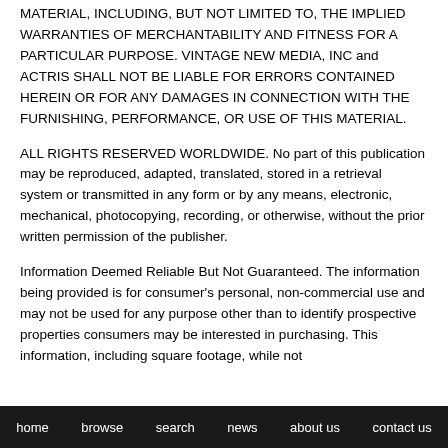MATERIAL, INCLUDING, BUT NOT LIMITED TO, THE IMPLIED WARRANTIES OF MERCHANTABILITY AND FITNESS FOR A PARTICULAR PURPOSE. VINTAGE NEW MEDIA, INC and ACTRIS SHALL NOT BE LIABLE FOR ERRORS CONTAINED HEREIN OR FOR ANY DAMAGES IN CONNECTION WITH THE FURNISHING, PERFORMANCE, OR USE OF THIS MATERIAL.
ALL RIGHTS RESERVED WORLDWIDE. No part of this publication may be reproduced, adapted, translated, stored in a retrieval system or transmitted in any form or by any means, electronic, mechanical, photocopying, recording, or otherwise, without the prior written permission of the publisher.
Information Deemed Reliable But Not Guaranteed. The information being provided is for consumer's personal, non-commercial use and may not be used for any purpose other than to identify prospective properties consumers may be interested in purchasing. This information, including square footage, while not
home   browse   search   news   about us   contact us